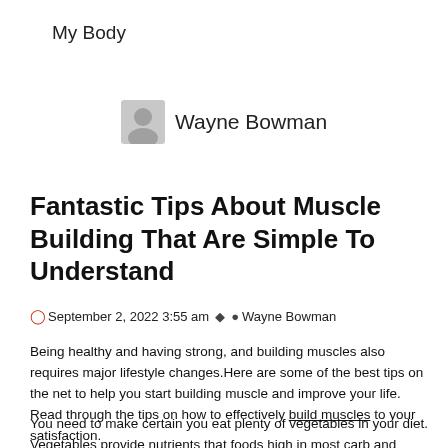My Body
[Figure (illustration): Generic user avatar icon (grey silhouette) next to the author name Wayne Bowman]
Wayne Bowman
Fantastic Tips About Muscle Building That Are Simple To Understand
September 2, 2022 3:55 am  Wayne Bowman
Being healthy and having strong, and building muscles also requires major lifestyle changes.Here are some of the best tips on the net to help you start building muscle and improve your life. Read through the tips on how to effectively build muscles to your satisfaction.
You need to make certain you eat plenty of vegetables in your diet. Vegetables provide nutrients that foods high in most carb and protein-rich foods. You will also get a good amount of fibers from